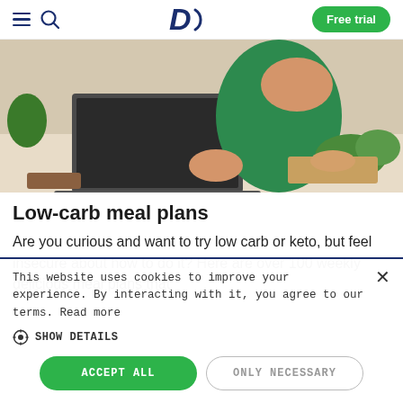Diet Doctor — navigation bar with hamburger menu, search icon, D logo, Free trial button
[Figure (photo): Person in green shirt using a laptop on a kitchen counter with fresh vegetables and food items nearby]
Low-carb meal plans
Are you curious and want to try low carb or keto, but feel insecure about how to do it? Here are over 100 weekly delicious meal plans that
This website uses cookies to improve your experience. By interacting with it, you agree to our terms. Read more
SHOW DETAILS
ACCEPT ALL
ONLY NECESSARY